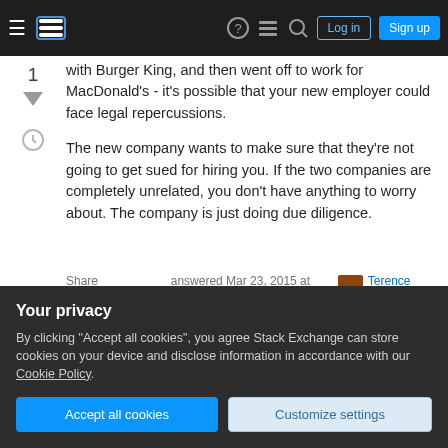Stack Exchange navigation header with hamburger menu, logo, help, chat, search, Log in, Sign up
with Burger King, and then went off to work for MacDonald's - it's possible that your new employer could face legal repercussions.
The new company wants to make sure that they're not going to get sued for hiring you. If the two companies are completely unrelated, you don't have anything to worry about. The company is just doing due diligence.
Share
Improve this answer
answered Mar 23, 2015 at 9:57
Terence Eden
Your privacy
By clicking "Accept all cookies", you agree Stack Exchange can store cookies on your device and disclose information in accordance with our Cookie Policy.
Accept all cookies
Customize settings